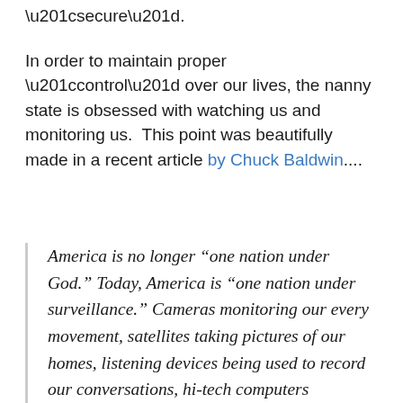“secure”.
In order to maintain proper “control” over our lives, the nanny state is obsessed with watching us and monitoring us.  This point was beautifully made in a recent article by Chuck Baldwin....
America is no longer “one nation under God.” Today, America is “one nation under surveillance.” Cameras monitoring our every movement, satellites taking pictures of our homes, listening devices being used to record our conversations, hi-tech computers capturing virtually every piece of